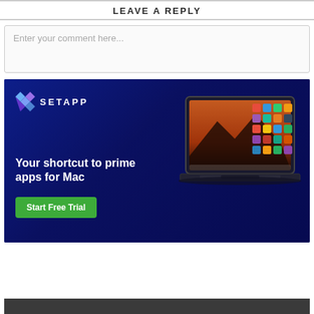LEAVE A REPLY
Enter your comment here...
[Figure (illustration): Setapp advertisement banner with dark blue background showing a MacBook laptop with colorful app icons. Text reads 'Your shortcut to prime apps for Mac' with a green 'Start Free Trial' button and Setapp logo in the upper left.]
[Figure (illustration): Partial dark gray bar visible at the bottom of the page, appears to be the top of another advertisement or content block.]